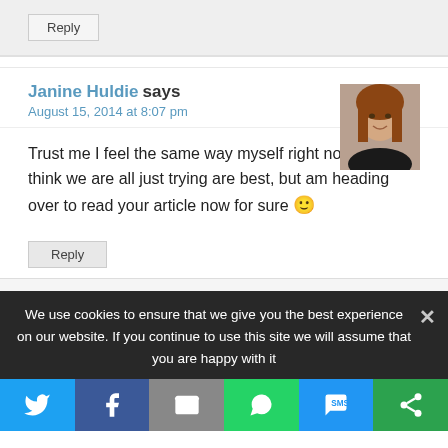Reply
Janine Huldie says
August 15, 2014 at 8:07 pm
Trust me I feel the same way myself right now and I think we are all just trying are best, but am heading over to read your article now for sure 🙂
Reply
We use cookies to ensure that we give you the best experience on our website. If you continue to use this site we will assume that you are happy with it